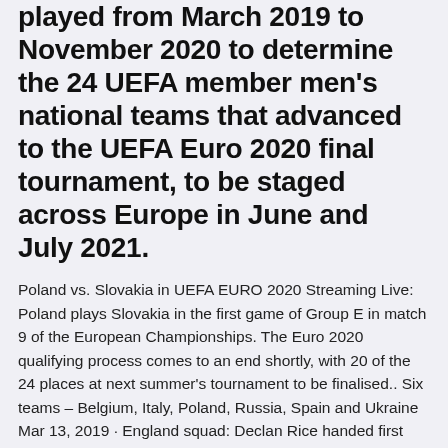played from March 2019 to November 2020 to determine the 24 UEFA member men's national teams that advanced to the UEFA Euro 2020 final tournament, to be staged across Europe in June and July 2021.
Poland vs. Slovakia in UEFA EURO 2020 Streaming Live: Poland plays Slovakia in the first game of Group E in match 9 of the European Championships. The Euro 2020 qualifying process comes to an end shortly, with 20 of the 24 places at next summer's tournament to be finalised.. Six teams – Belgium, Italy, Poland, Russia, Spain and Ukraine Mar 13, 2019 · England squad: Declan Rice handed first call-up after switching